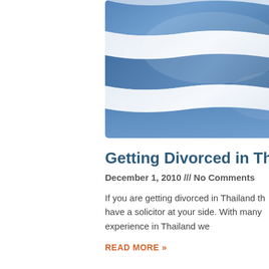[Figure (photo): Close-up photograph of the Thai national flag waving, showing blue and white stripes with fabric folds and motion blur.]
Getting Divorced in Thailand
December 1, 2010 /// No Comments
If you are getting divorced in Thailand the best thing to do is have a solicitor at your side. With many years of experience in Thailand we
READ MORE »